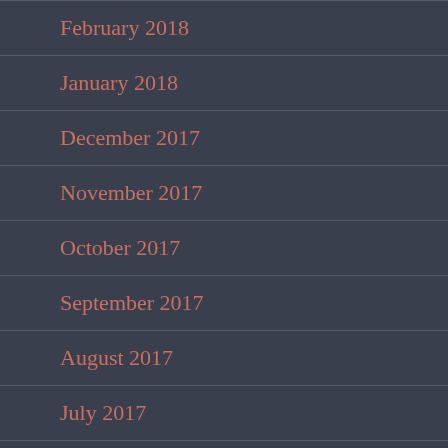February 2018
January 2018
December 2017
November 2017
October 2017
September 2017
August 2017
July 2017
June 2017